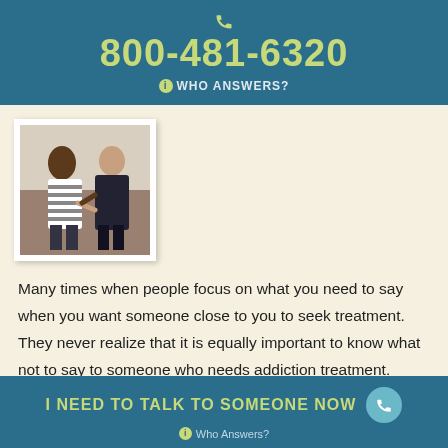800-481-6320 WHO ANSWERS?
[Figure (photo): Two people sitting and talking, one in a striped shirt and one in dark clothing, appearing to have a counseling or intervention conversation.]
Many times when people focus on what you need to say when you want someone close to you to seek treatment. They never realize that it is equally important to know what not to say to someone who needs addiction treatment. According to the National Institute on Drug Abuse, addiction is a disease. When talking....
I NEED TO TALK TO SOMEONE NOW Who Answers?